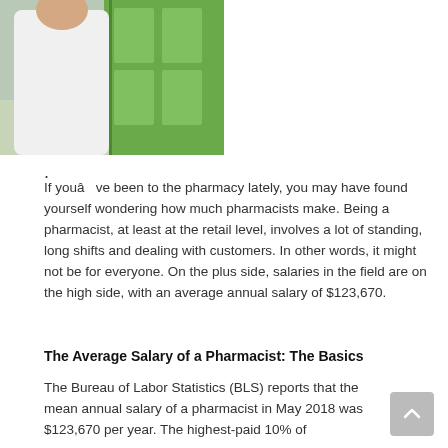[Figure (photo): A pharmacist in a white coat speaking with two customers (an elderly couple) in a pharmacy with green cabinetry in the background.]
.
If youâve been to the pharmacy lately, you may have found yourself wondering how much pharmacists make. Being a pharmacist, at least at the retail level, involves a lot of standing, long shifts and dealing with customers. In other words, it might not be for everyone. On the plus side, salaries in the field are on the high side, with an average annual salary of $123,670.
The Average Salary of a Pharmacist: The Basics
The Bureau of Labor Statistics (BLS) reports that the mean annual salary of a pharmacist in May 2018 was $123,670 per year. The highest-paid 10% of